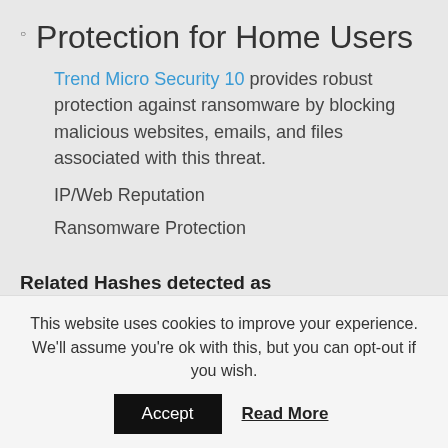Protection for Home Users
Trend Micro Security 10 provides robust protection against ransomware by blocking malicious websites, emails, and files associated with this threat.
IP/Web Reputation
Ransomware Protection
Related Hashes detected as Ransom_HDDCRYPTOR.A:
SHA-1:
1778A2C20CD1DC424EB02E49E74EED12D0EE4CEC
This website uses cookies to improve your experience. We'll assume you're ok with this, but you can opt-out if you wish.
Accept  Read More